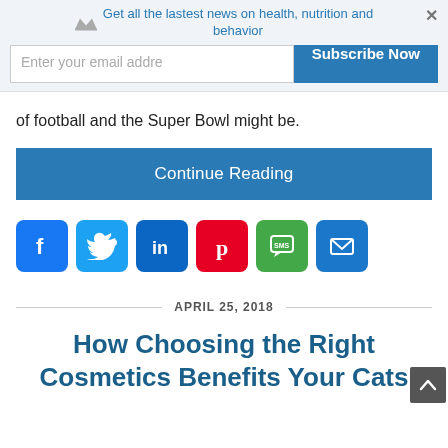Get all the lastest news on health, nutrition and behavior
Enter your email addre
Subscribe Now
of football and the Super Bowl might be.
Continue Reading
[Figure (infographic): Social sharing icons: Facebook, Twitter, LinkedIn, Pinterest, SMS, Email]
APRIL 25, 2018
How Choosing the Right Cosmetics Benefits Your Cats